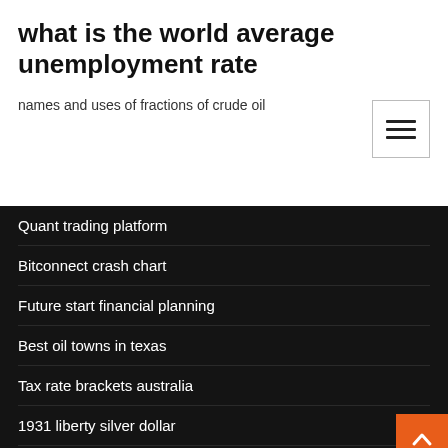what is the world average unemployment rate
names and uses of fractions of crude oil
Quant trading platform
Bitconnect crash chart
Future start financial planning
Best oil towns in texas
Tax rate brackets australia
1931 liberty silver dollar
What is cost basis of stock when gift
Bny mellon china select adr index components
Oil reserves in future